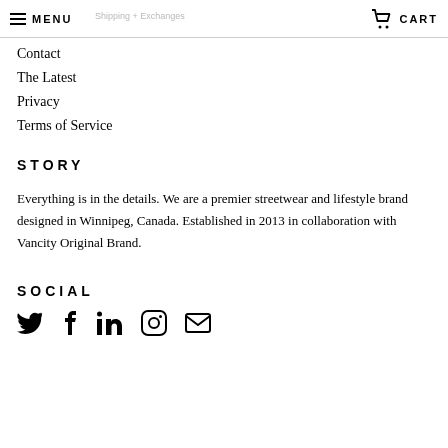MENU | CART
Contact
The Latest
Privacy
Terms of Service
STORY
Everything is in the details. We are a premier streetwear and lifestyle brand designed in Winnipeg, Canada. Established in 2013 in collaboration with Vancity Original Brand.
SOCIAL
[Figure (infographic): Social media icons: Twitter (bird), Facebook (f), LinkedIn (in), Instagram (camera), Email (envelope)]